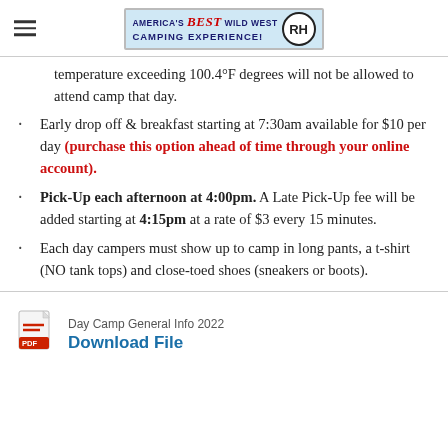America's Best Wild West Camping Experience! RH
temperature exceeding 100.4°F degrees will not be allowed to attend camp that day.
Early drop off & breakfast starting at 7:30am available for $10 per day (purchase this option ahead of time through your online account).
Pick-Up each afternoon at 4:00pm. A Late Pick-Up fee will be added starting at 4:15pm at a rate of $3 every 15 minutes.
Each day campers must show up to camp in long pants, a t-shirt (NO tank tops) and close-toed shoes (sneakers or boots).
[Figure (other): PDF file icon]
Day Camp General Info 2022 Download File